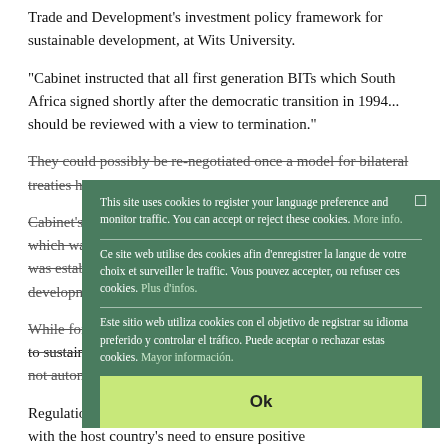Trade and Development's investment policy framework for sustainable development, at Wits University.
"Cabinet instructed that all first generation BITs which South Africa signed shortly after the democratic transition in 1994... should be reviewed with a view to termination."
They could possibly be re-negotiated once a model for bilateral treaties had been developed.
Cabinet's decision followed a three-year review of these treaties, which was concluded in 2010. An inter-ministerial committee was established to deal with trade and investment, and economic development.
While foreign investment could make an important contribution to sustainable development, the benefits to host countries were not automatic.
Regulations needed to balance investors' economic requirements with the host country's need to ensure positive
This site uses cookies to register your language preference and monitor traffic. You can accept or reject these cookies. More info.
Ce site web utilise des cookies afin d'enregistrer la langue de votre choix et surveiller le traffic. Vous pouvez accepter, ou refuser ces cookies. Plus d'infos.
Este sitio web utiliza cookies con el objetivo de registrar su idioma preferido y controlar el tráfico. Puede aceptar o rechazar estas cookies. Mayor información.